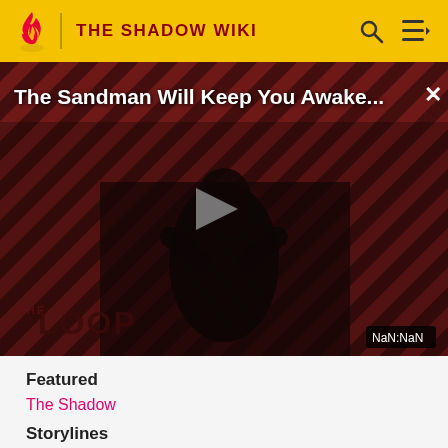THE SHADOW WIKI
[Figure (screenshot): Video player showing 'The Sandman Will Keep You Awake...' with a dark-themed thumbnail featuring a figure in black against red diagonal stripes, THE LOOP logo at bottom, play button in center, and NaN:NaN time display.]
Featured
The Shadow
Storylines